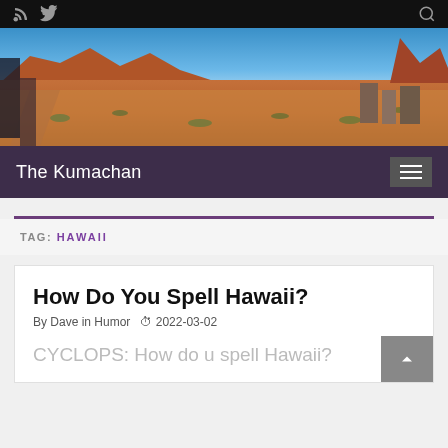The Kumachan — navigation bar with RSS, Twitter icons and search
[Figure (photo): Panoramic desert landscape photo with red rock formations under blue sky]
The Kumachan
TAG: HAWAII
How Do You Spell Hawaii?
By Dave in Humor  2022-03-02
CYCLOPS: How do u spell Hawaii?